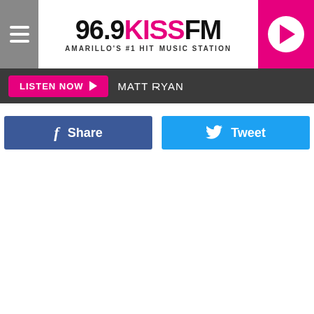96.9 KISS FM — AMARILLO'S #1 HIT MUSIC STATION
LISTEN NOW  MATT RYAN
[Figure (other): Facebook Share button (dark blue) and Twitter Tweet button (light blue) side by side]